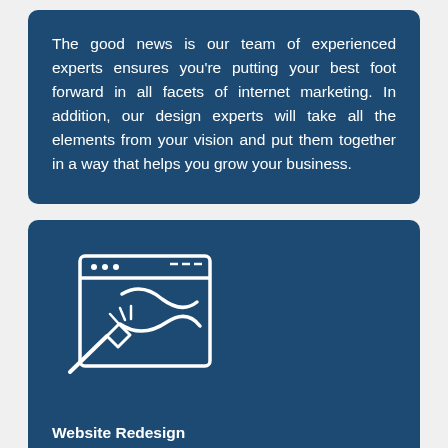The good news is our team of experienced experts ensures you're putting your best foot forward in all facets of internet marketing. In addition, our design experts will take all the elements from your vision and put them together in a way that helps you grow your business.
[Figure (illustration): White line icon of a web browser window with a paint brush/design tool icon indicating website design or redesign service]
Website Redesign
A website redesign is an excellent idea for many businesses. The age of your current site doesn't